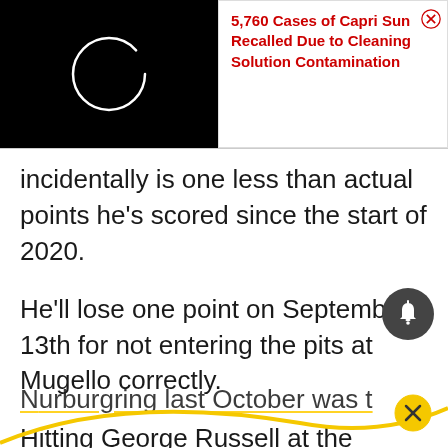[Figure (screenshot): Black video player thumbnail with a white circular loading spinner icon]
5,760 Cases of Capri Sun Recalled Due to Cleaning Solution Contamination
incidentally is one less than actual points he’s scored since the start of 2020.
He’ll lose one point on September 13th for not entering the pits at Mugello correctly.
Hitting George Russell at the Nurburgring last October was t…